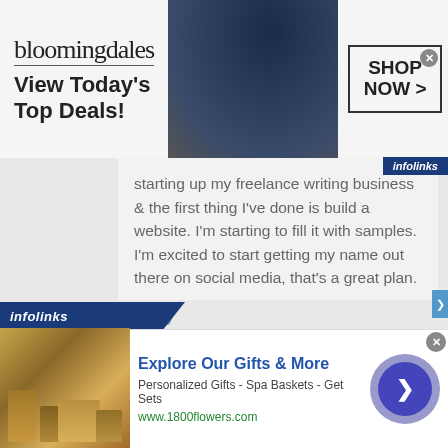[Figure (screenshot): Bloomingdale's banner advertisement with logo, 'View Today's Top Deals!' text, model wearing wide-brimmed hat, and 'SHOP NOW >' button]
starting up my freelance writing business and the first thing I've done is build a website. I'm starting to fill it with samples. I'm excited to start getting my name out there on social media, that's a great plan.
Reply
[Figure (screenshot): Infolinks advertisement banner: 'Explore Our Gifts & More', Personalized Gifts - Spa Baskets - Get Sets, www.1800flowers.com, with product image and blue circular arrow button]